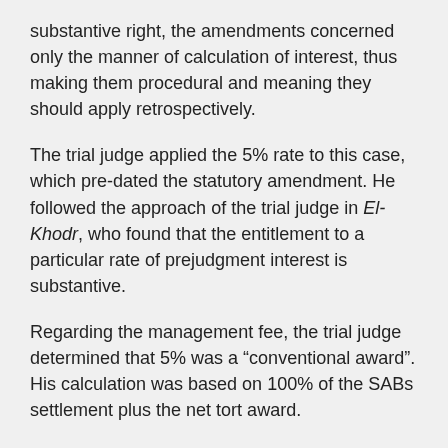substantive right, the amendments concerned only the manner of calculation of interest, thus making them procedural and meaning they should apply retrospectively.
The trial judge applied the 5% rate to this case, which pre-dated the statutory amendment. He followed the approach of the trial judge in El-Khodr, who found that the entitlement to a particular rate of prejudgment interest is substantive.
Regarding the management fee, the trial judge determined that 5% was a “conventional award”. His calculation was based on 100% of the SABs settlement plus the net tort award.
Regarding costs, there was a significant difference in the parties’ positions because a month prior to trial, the appellant had made what the trial judge described as a “near miss” settlement offer. Just before that offer, the